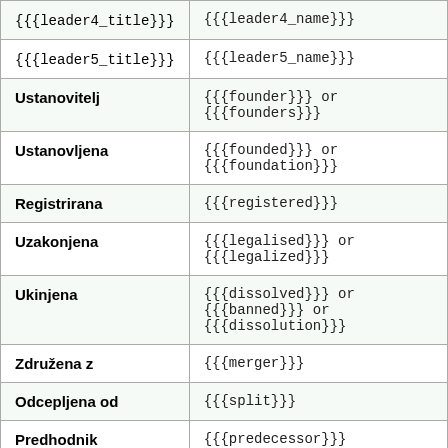|  |  |
| --- | --- |
| {{{leader4_title}}} | {{{leader4_name}}} |
| {{{leader5_title}}} | {{{leader5_name}}} |
| Ustanovitelj | {{{founder}}} or {{{founders}}} |
| Ustanovljena | {{{founded}}} or {{{foundation}}} |
| Registrirana | {{{registered}}} |
| Uzakonjena | {{{legalised}}} or {{{legalized}}} |
| Ukinjena | {{{dissolved}}} or {{{banned}}} or {{{dissolution}}} |
| Združena z | {{{merger}}} |
| Odcepljena od | {{{split}}} |
| Predhodnik | {{{predecessor}}} |
| Združena v | {{{merged}}} |